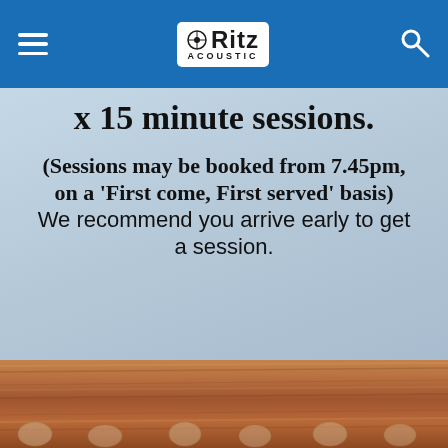Ritz Acoustic — navigation bar with hamburger menu and search icon
x 15 minute sessions.
(Sessions may be booked from 7.45pm, on a 'First come, First served' basis) We recommend you arrive early to get a session.
[Figure (photo): Close-up photo of a wooden guitar fretboard/headstock with tuning pegs visible along the bottom edge, warm brown wood tones.]